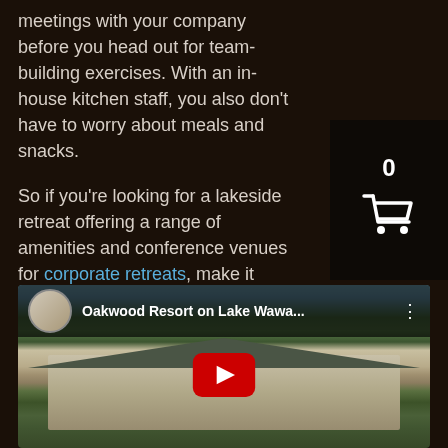meetings with your company before you head out for team-building exercises. With an in-house kitchen staff, you also don't have to worry about meals and snacks.

So if you're looking for a lakeside retreat offering a range of amenities and conference venues for corporate retreats, make it Oakwood Resort.
[Figure (screenshot): Shopping cart widget showing count 0 with cart icon on dark background]
[Figure (screenshot): Embedded YouTube video thumbnail showing Oakwood Resort on Lake Wawa... with aerial view of resort building surrounded by trees, red YouTube play button in center]